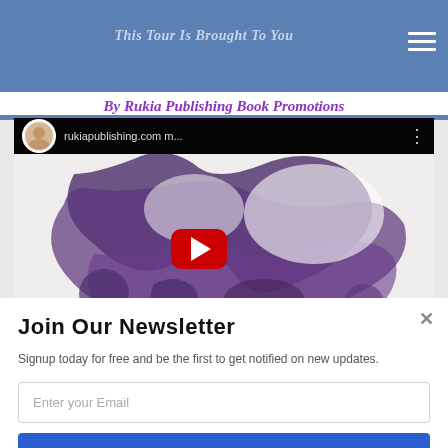This Tour Is Brought To You
By Rukia Publishing Book Promotions
[Figure (screenshot): YouTube video embed thumbnail showing rukiapublishing.com m... with a purple abstract art background and red play button, and SUMO watermark in bottom right]
Join Our Newsletter
Signup today for free and be the first to get notified on new updates.
Enter your Email
Subscribe Now